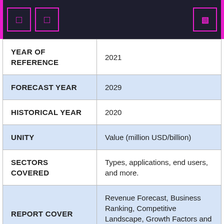|  |  |
| --- | --- |
| YEAR OF REFERENCE | 2021 |
| FORECAST YEAR | 2029 |
| HISTORICAL YEAR | 2020 |
| UNITY | Value (million USD/billion) |
| SECTORS COVERED | Types, applications, end users, and more. |
| REPORT COVER | Revenue Forecast, Business Ranking, Competitive Landscape, Growth Factors and Trends |
|  | North America, Europe, Asia-Pacific, |